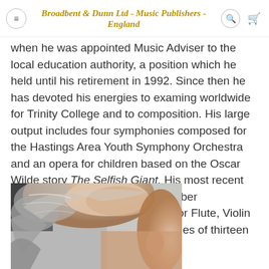Broadbent & Dunn Ltd - Music Publishers - England
when he was appointed Music Adviser to the local education authority, a position which he held until his retirement in 1992. Since then he has devoted his energies to examing worldwide for Trinity College and to composition. His large output includes four symphonies composed for the Hastings Area Youth Symphony Orchestra and an opera for children based on the Oscar Wilde story The Selfish Giant. His most recent works have been mainly for chamber combinations and include a Trio for Flute, Violin and Piano, a Piano Trio and a series of thirteen String Quartets.
[Figure (photo): Partial photograph of an elderly man's head showing grey/white hair from above and side angle]